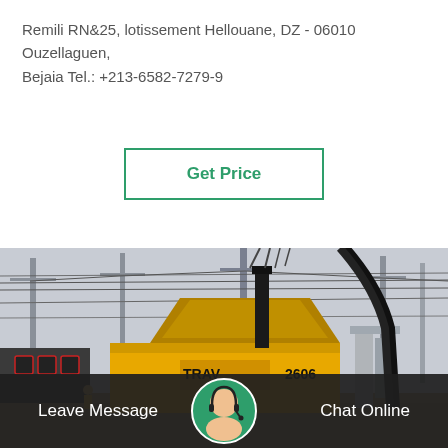Remili RN&25, lotissement Hellouane, DZ - 06010 Ouzellaguen, Bejaia Tel.: +213-6582-7279-9
[Figure (other): Get Price button with green border]
[Figure (photo): Electrical substation with yellow mobile transformer unit (TRAV 2606) and high-voltage power lines and equipment]
Leave Message
Chat Online